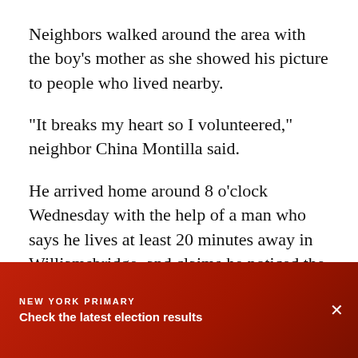Neighbors walked around the area with the boy's mother as she showed his picture to people who lived nearby.
"It breaks my heart so I volunteered," neighbor China Montilla said.
He arrived home around 8 o'clock Wednesday with the help of a man who says he lives at least 20 minutes away in Williamsbridge, and claims he noticed the boy outside his building Wednesday afternoon.
After several hours, he decided to offer some help...
NEW YORK PRIMARY
Check the latest election results